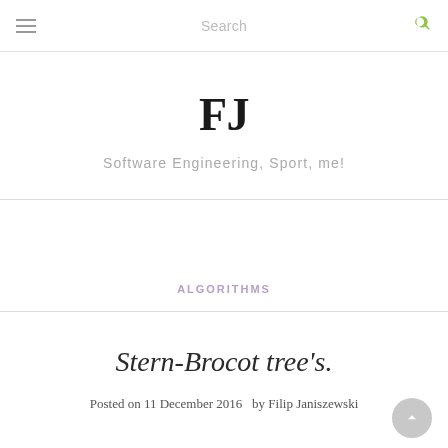Search
FJ
Software Engineering, Sport, me!
ALGORITHMS
Stern-Brocot tree's.
Posted on 11 December 2016  by Filip Janiszewski